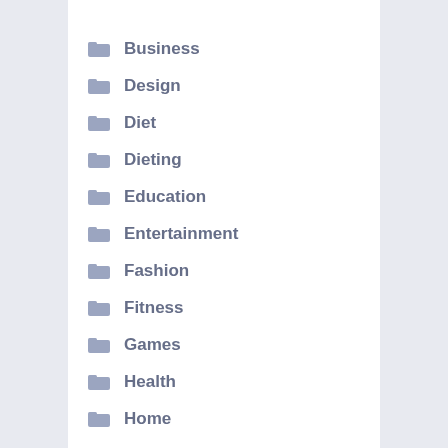Business
Design
Diet
Dieting
Education
Entertainment
Fashion
Fitness
Games
Health
Home
Law